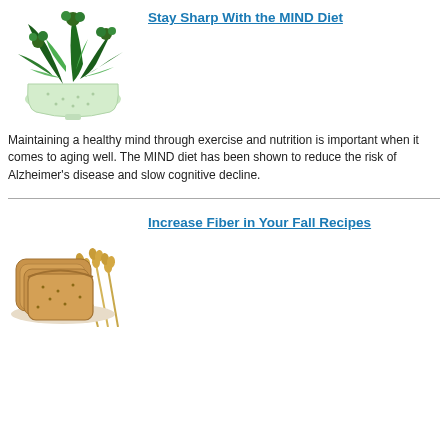Stay Sharp With the MIND Diet
[Figure (photo): Bowl of green leafy vegetables including kale and parsley on a white colander]
Maintaining a healthy mind through exercise and nutrition is important when it comes to aging well. The MIND diet has been shown to reduce the risk of Alzheimer's disease and slow cognitive decline.
Increase Fiber in Your Fall Recipes
[Figure (photo): Sliced whole grain bread with wheat stalks on a wooden surface]